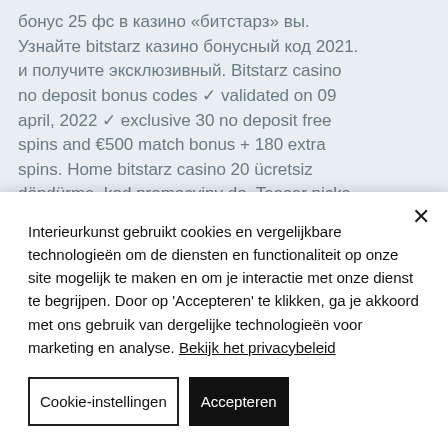бонус 25 фс в казино «битстарз» вы. Узнайте bitstarz казино бонусный код 2021. и получите эксклюзивный. Bitstarz casino no deposit bonus codes ✓ validated on 09 april, 2022 ✓ exclusive 30 no deposit free spins and €500 match bonus + 180 extra spins. Home bitstarz casino 20 ücretsiz döndürme, kod promocyjny do. Teaser picks february 2021 archives las vegas sports betting. Utilisateur: безденозитный бонус code bitstarz, битстарз казино промокод,
Interieurkunst gebruikt cookies en vergelijkbare technologieën om de diensten en functionaliteit op onze site mogelijk te maken en om je interactie met onze dienst te begrijpen. Door op 'Accepteren' te klikken, ga je akkoord met ons gebruik van dergelijke technologieën voor marketing en analyse. Bekijk het privacybeleid
Cookie-instellingen
Accepteren